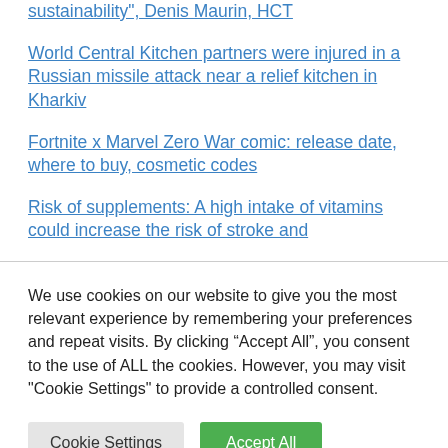sustainability", Denis Maurin, HCT
World Central Kitchen partners were injured in a Russian missile attack near a relief kitchen in Kharkiv
Fortnite x Marvel Zero War comic: release date, where to buy, cosmetic codes
Risk of supplements: A high intake of vitamins could increase the risk of stroke and
We use cookies on our website to give you the most relevant experience by remembering your preferences and repeat visits. By clicking “Accept All”, you consent to the use of ALL the cookies. However, you may visit "Cookie Settings" to provide a controlled consent.